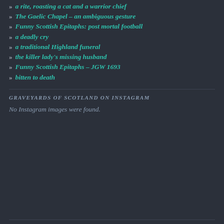» a rite, roasting a cat and a warrior chief
» The Gaelic Chapel – an ambiguous gesture
» Funny Scottish Epitaphs: post mortal football
» a deadly cry
» a traditional Highland funeral
» the killer lady's missing husband
» Funny Scottish Epitaphs – JGW 1693
» bitten to death
GRAVEYARDS OF SCOTLAND ON INSTAGRAM
No Instagram images were found.